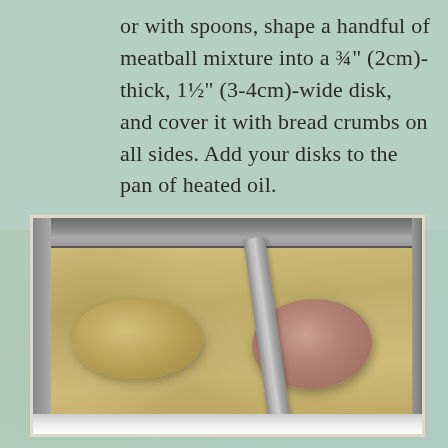or with spoons, shape a handful of meatball mixture into a ¾" (2cm)-thick, 1½" (3-4cm)-wide disk, and cover it with bread crumbs on all sides. Add your disks to the pan of heated oil.
[Figure (photo): A rectangular pan filled with bread crumbs, containing two meat disk patties being coated — one already breaded (left) and one raw/unbreaded (right), with a metal spatula pressing down on them.]